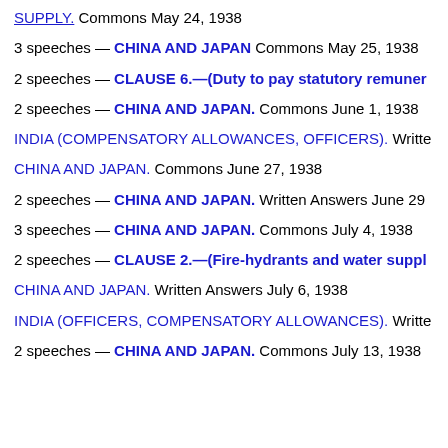SUPPLY. Commons May 24, 1938
3 speeches — CHINA AND JAPAN Commons May 25, 1938
2 speeches — CLAUSE 6.—(Duty to pay statutory remuneration)
2 speeches — CHINA AND JAPAN. Commons June 1, 1938
INDIA (COMPENSATORY ALLOWANCES, OFFICERS). Written…
CHINA AND JAPAN. Commons June 27, 1938
2 speeches — CHINA AND JAPAN. Written Answers June 29…
3 speeches — CHINA AND JAPAN. Commons July 4, 1938
2 speeches — CLAUSE 2.—(Fire-hydrants and water supply)
CHINA AND JAPAN. Written Answers July 6, 1938
INDIA (OFFICERS, COMPENSATORY ALLOWANCES). Written…
2 speeches — CHINA AND JAPAN. Commons July 13, 1938